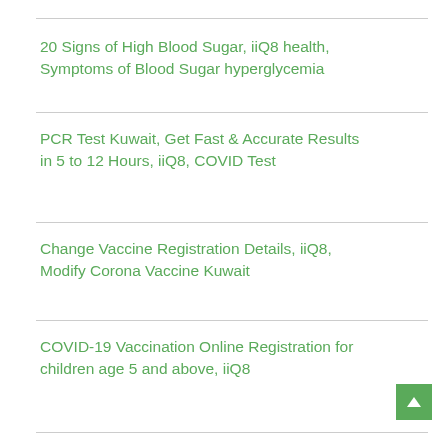20 Signs of High Blood Sugar, iiQ8 health, Symptoms of Blood Sugar hyperglycemia
PCR Test Kuwait, Get Fast & Accurate Results in 5 to 12 Hours, iiQ8, COVID Test
Change Vaccine Registration Details, iiQ8, Modify Corona Vaccine Kuwait
COVID-19 Vaccination Online Registration for children age 5 and above, iiQ8